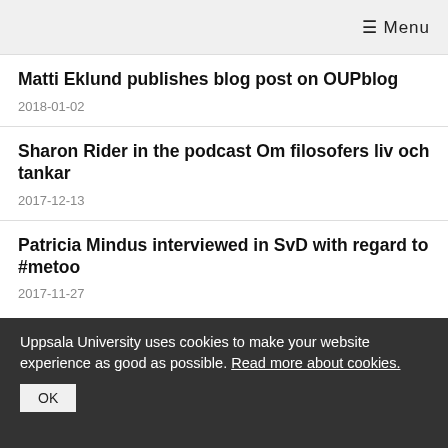≡ Menu
Matti Eklund publishes blog post on OUPblog
2018-01-02
Sharon Rider in the podcast Om filosofers liv och tankar
2017-12-13
Patricia Mindus interviewed in SvD with regard to #metoo
2017-11-27
Uppsala University uses cookies to make your website experience as good as possible. Read more about cookies. OK